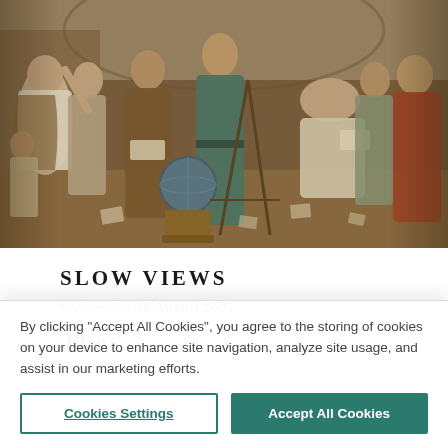[Figure (illustration): A Renaissance-style painting depicting a group of scholars, philosophers, and scientists gathered together. The scene shows robed figures engaged in scholarly activities, with a globe and instruments visible. The painting uses warm earth tones of brown, ochre, and muted blues.]
SLOW VIEWS
Wednesday 18 August 2021
By clicking “Accept All Cookies”, you agree to the storing of cookies on your device to enhance site navigation, analyze site usage, and assist in our marketing efforts.
Cookies Settings | Accept All Cookies